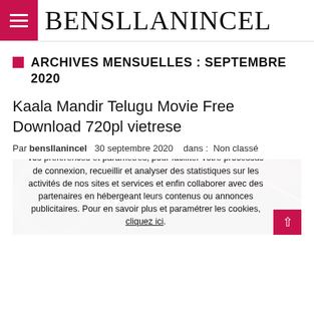BENSLLANINCEL
ARCHIVES MENSUELLES : SEPTEMBRE 2020
Kaala Mandir Telugu Movie Free Download 720pl vietrese
Par bensllanincel   30 septembre 2020   dans :  Non classé
[Figure (photo): The Twilight Saga movie banner image with dark background and logo text]
En poursuivant votre navigation sur ce site, vous acceptez l'utilisation de cookies pour vous proposer des publicités ciblées adaptées à vos centres d'intérêts, la mémorisation de vos préférences et paramètres, pour faciliter votre processus de connexion, recueillir et analyser des statistiques sur les activités de nos sites et services et enfin collaborer avec des partenaires en hébergeant leurs contenus ou annonces publicitaires. Pour en savoir plus et paramétrer les cookies, cliquez ici.